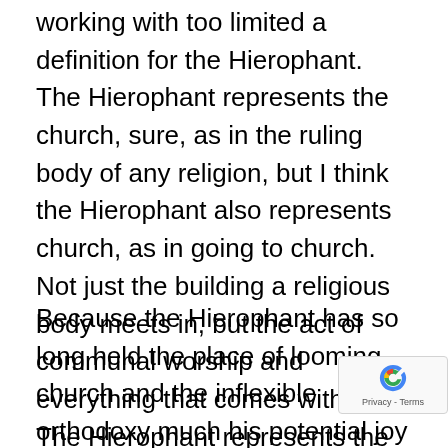working with too limited a definition for the Hierophant. The Hierophant represents the church, sure, as in the ruling body of any religion, but I think the Hierophant also represents church, as in going to church. Not just the building a religious body meets in, but the act of communal worship and everything that comes with it. The Hierophant represents the religious community, and the religious community united in worship.
Because the Hierophant has so long held the place of looming church and the inflexible orthodoxy much his potential joy has been drained away and replaced by stern